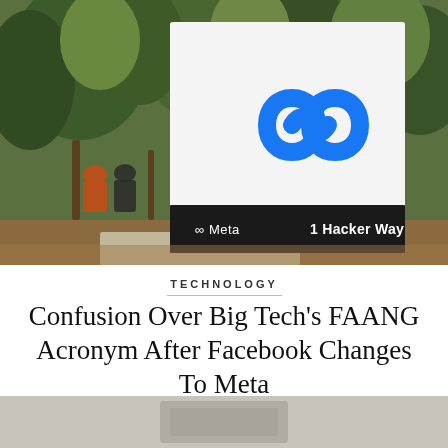[Figure (photo): Photograph of the Meta headquarters sign at 1 Hacker Way, showing the Meta infinity loop logo on a white sign panel with a black base bar. People visible in the background near trees and landscaping.]
TECHNOLOGY
Confusion Over Big Tech's FAANG Acronym After Facebook Changes To Meta